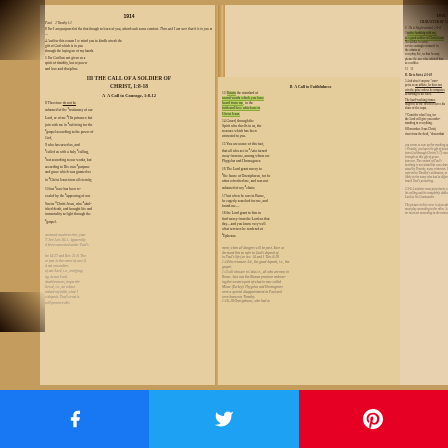[Figure (photo): Open Bible showing 2 Timothy chapters with annotated text, highlighted passages, and commentary notes. The left page shows sections titled 'THE CALL OF A SOLDIER OF CHRIST' with subsections including 'A Call to Courage' (1:8-12) and 'A Call to Faithfulness'. The right page shows sections about 'CHARACTER OF A MINISTER' with passages about 'He is Single-minded' and 'He is Strict'. Some verses are highlighted in yellow/green. The Bible is photographed open on a surface with warm amber lighting.]
[Figure (infographic): Three social media share buttons at the bottom: Facebook (blue), Twitter (blue), and Pinterest (red), each with respective icons.]